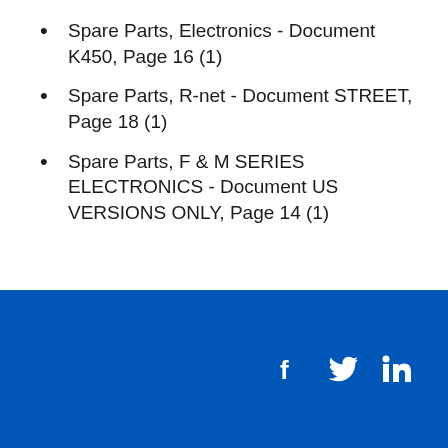Spare Parts, Electronics - Document K450, Page 16 (1)
Spare Parts, R-net - Document STREET, Page 18 (1)
Spare Parts, F & M SERIES ELECTRONICS - Document US VERSIONS ONLY, Page 14 (1)
Social media icons: Facebook, Twitter, LinkedIn